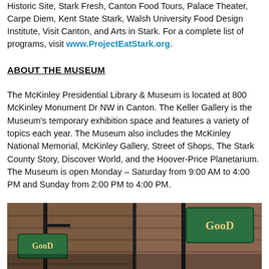Historic Site, Stark Fresh, Canton Food Tours, Palace Theater, Carpe Diem, Kent State Stark, Walsh University Food Design Institute, Visit Canton, and Arts in Stark.  For a complete list of programs, visit www.ProjectEatStark.org.
ABOUT THE MUSEUM
The McKinley Presidential Library & Museum is located at 800 McKinley Monument Dr NW in Canton.  The Keller Gallery is the Museum's temporary exhibition space and features a variety of topics each year.  The Museum also includes the McKinley National Memorial, McKinley Gallery, Street of Shops, The Stark County Story, Discover World, and the Hoover-Price Planetarium.  The Museum is open Monday – Saturday from 9:00 AM to 4:00 PM and Sunday from 2:00 PM to 4:00 PM.
[Figure (photo): Photo of street signs with green 'Good Food' style signs on brick building poles in an urban setting]